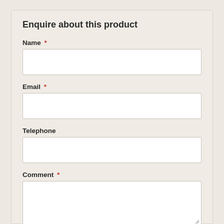Enquire about this product
Name *
Email *
Telephone
Comment *